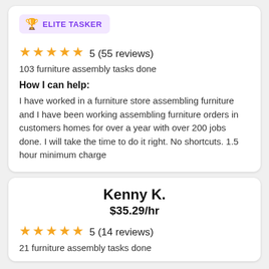[Figure (other): Elite Tasker badge with trophy icon and purple text]
★★★★★ 5 (55 reviews)
103 furniture assembly tasks done
How I can help:
I have worked in a furniture store assembling furniture and I have been working assembling furniture orders in customers homes for over a year with over 200 jobs done. I will take the time to do it right. No shortcuts. 1.5 hour minimum charge
Kenny K.
$35.29/hr
★★★★★ 5 (14 reviews)
21 furniture assembly tasks done